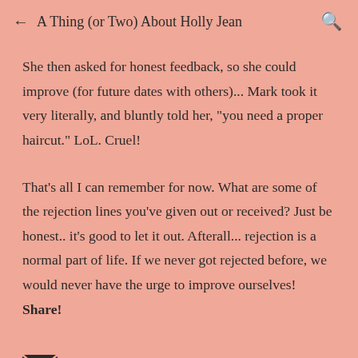← A Thing (or Two) About Holly Jean 🔍
She then asked for honest feedback, so she could improve (for future dates with others)... Mark took it very literally, and bluntly told her, "you need a proper haircut." LoL. Cruel!
That's all I can remember for now. What are some of the rejection lines you've given out or received? Just be honest.. it's good to let it out. Afterall... rejection is a normal part of life. If we never got rejected before, we would never have the urge to improve ourselves! Share!
[Figure (other): Email envelope icon (mail button)]